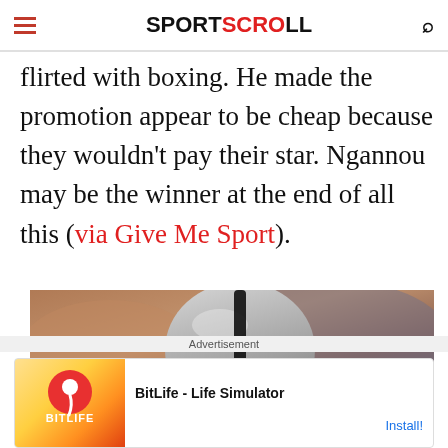SPORTSCROLL
flirted with boxing. He made the promotion appear to be cheap because they wouldn't pay their star. Ngannou may be the winner at the end of all this (via Give Me Sport).
[Figure (photo): Photo of a football player wearing a silver helmet with a black stripe, blurred background in warm brown tones]
Advertisement
[Figure (other): Advertisement banner for BitLife - Life Simulator app with cartoon character and orange/red gradient app icon]